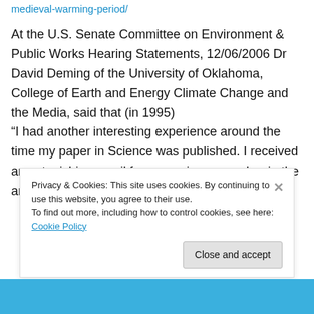medieval-warming-period/
At the U.S. Senate Committee on Environment & Public Works Hearing Statements, 12/06/2006 Dr David Deming of the University of Oklahoma, College of Earth and Energy Climate Change and the Media, said that (in 1995) “I had another interesting experience around the time my paper in Science was published. I received an astonishing email from a major researcher in the area of climate change. He
Privacy & Cookies: This site uses cookies. By continuing to use this website, you agree to their use.
To find out more, including how to control cookies, see here: Cookie Policy
Close and accept